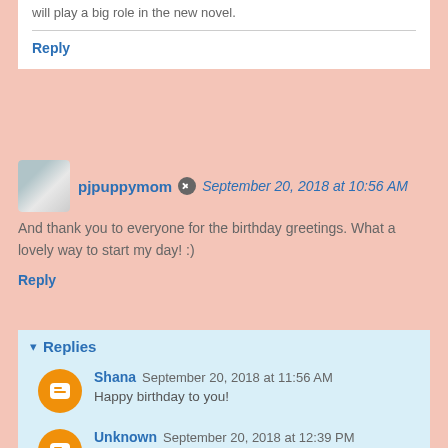will play a big role in the new novel.
Reply
pjpuppymom  September 20, 2018 at 10:56 AM
And thank you to everyone for the birthday greetings. What a lovely way to start my day! :)
Reply
Replies
Shana  September 20, 2018 at 11:56 AM
Happy birthday to you!
Unknown  September 20, 2018 at 12:39 PM
Hugs, PJ! <3
Reply